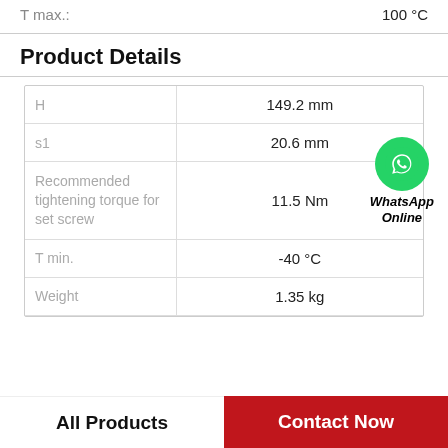| Property | Value |
| --- | --- |
| T max. | 100 °C |
Product Details
| Property | Value |
| --- | --- |
| H | 149.2 mm |
| s1 | 20.6 mm |
| Recommended tightening torque for set screw | 11.5 Nm |
| T min. | -40 °C |
| Weight | 1.35 kg |
[Figure (logo): WhatsApp Online green circle icon with phone handset, labeled 'WhatsApp Online' in italic bold text]
All Products | Contact Now